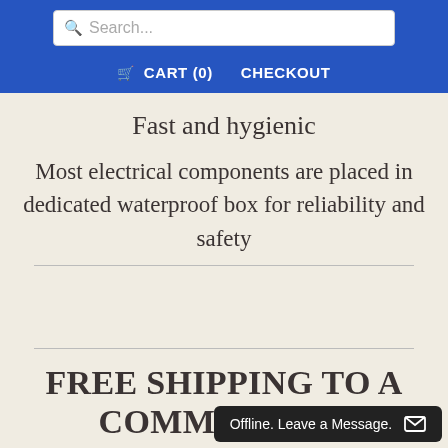Search... CART (0) CHECKOUT
Fast and hygienic
Most electrical components are placed in dedicated waterproof box for reliability and safety
FREE SHIPPING TO A COMMERCIAL LOCATION
[Figure (screenshot): Offline live chat popup: 'Offline. Leave a Message.' with envelope icon, dark background, bottom-right corner]